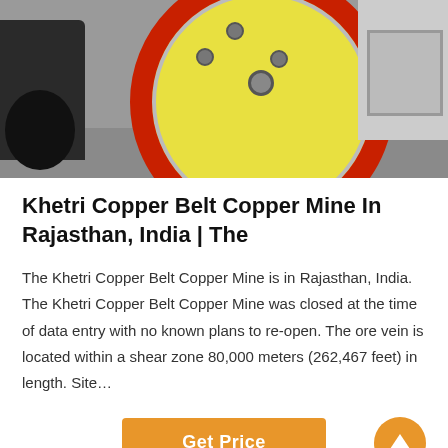[Figure (photo): Industrial machinery photo showing a large yellow wheel with red rubber rim on a grey concrete floor, with a black tire/vehicle visible on the left side.]
Khetri Copper Belt Copper Mine In Rajasthan, India | The
The Khetri Copper Belt Copper Mine is in Rajasthan, India. The Khetri Copper Belt Copper Mine was closed at the time of data entry with no known plans to re-open. The ore vein is located within a shear zone 80,000 meters (262,467 feet) in length. Site…
[Figure (screenshot): Get Price orange button with a scroll-to-top circular orange button on the right side.]
[Figure (photo): Bottom photo showing industrial mining equipment/factory scene, with a Leave Message link on the left and a teal Chat Online button on the right.]